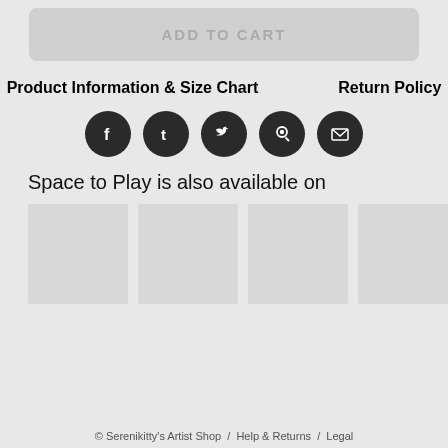ADD TO CART
Product Information & Size Chart
Return Policy
[Figure (illustration): Five social media icon circles: Facebook, Tumblr, Twitter, Pinterest, Email]
Space to Play is also available on
[Figure (illustration): Six light gray product thumbnail placeholder boxes in a horizontal row]
© Serenikitty's Artist Shop  /  Help & Returns  /  Legal